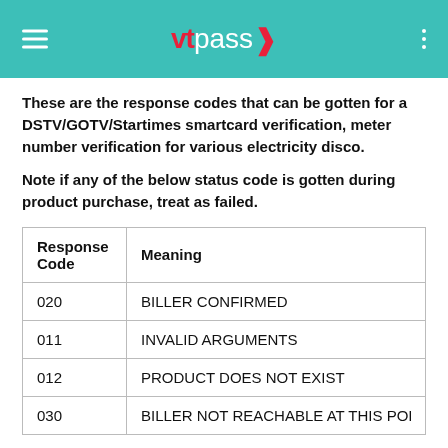vtpass
These are the response codes that can be gotten for a DSTV/GOTV/Startimes smartcard verification, meter number verification for various electricity disco.
Note if any of the below status code is gotten during product purchase, treat as failed.
| Response Code | Meaning |
| --- | --- |
| 020 | BILLER CONFIRMED |
| 011 | INVALID ARGUMENTS |
| 012 | PRODUCT DOES NOT EXIST |
| 030 | BILLER NOT REACHABLE AT THIS POINT |